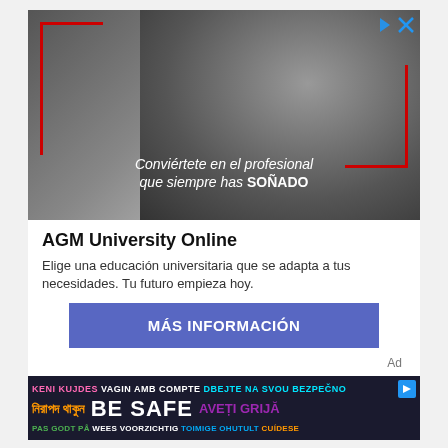[Figure (photo): Advertisement for AGM University Online showing a woman with glasses smiling at a laptop, with red corner borders and italic text overlay in Spanish reading 'Conviértete en el profesional que siempre has SOÑADO', below the photo a red bar with an Elévate logo]
AGM University Online
Elige una educación universitaria que se adapta a tus necesidades. Tu futuro empieza hoy.
MÁS INFORMACIÓN
Ad
[Figure (infographic): BE SAFE multilingual safety banner with text in multiple languages including Bengali, Dutch, Finnish, Romanian, Spanish, Czech, and others on a dark background with a blue arrow icon]